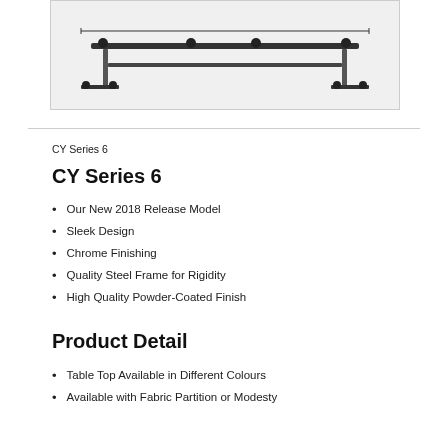[Figure (photo): Product photo of CY Series 6 table/desk frame showing a metal frame structure with chrome finish, viewed from above/front angle.]
CY Series 6
CY Series 6
Our New 2018 Release Model
Sleek Design
Chrome Finishing
Quality Steel Frame for Rigidity
High Quality Powder-Coated Finish
Product Detail
Table Top Available in Different Colours
Available with Fabric Partition or Modesty